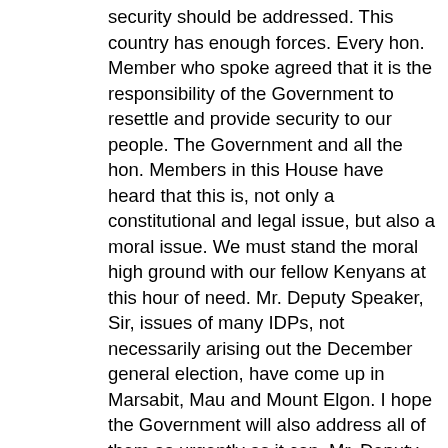security should be addressed. This country has enough forces. Every hon. Member who spoke agreed that it is the responsibility of the Government to resettle and provide security to our people. The Government and all the hon. Members in this House have heard that this is, not only a constitutional and legal issue, but also a moral issue. We must stand the moral high ground with our fellow Kenyans at this hour of need. Mr. Deputy Speaker, Sir, issues of many IDPs, not necessarily arising out the December general election, have come up in Marsabit, Mau and Mount Elgon. I hope the Government will also address all of them as urgently as it can. Mr. Deputy Speaker, Sir, what has come out is that for resettlement and settlement to take place, we must have goodwill and commitment of the Members of Parliament, particularly from the affected areas. They have also pleaded with the Government to include them, like yesterday in the process. As the President and Prime Minister will be touring those areas, they can include them plus elders, churches and NGOs working in those areas. In so doing, this problem will be quickly resolved. The issue of the Government not having moved with speed and lived up to its responsibility has been raised. The Government has been asked to apologise to the IDPs everywhere in Kenya for not taking up its responsibility. I have no doubt that the Minister in charge has heard that. Mr. Deputy Speaker, Sir,